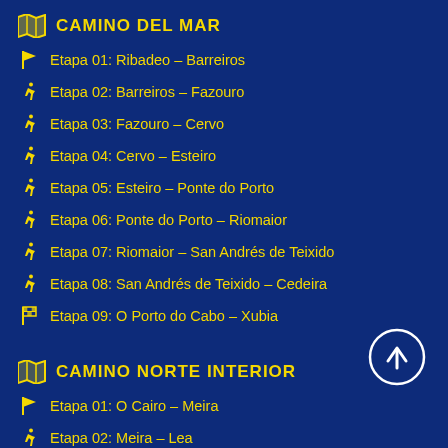CAMINO DEL MAR
Etapa 01: Ribadeo – Barreiros
Etapa 02: Barreiros – Fazouro
Etapa 03: Fazouro – Cervo
Etapa 04: Cervo – Esteiro
Etapa 05: Esteiro – Ponte do Porto
Etapa 06: Ponte do Porto – Riomaior
Etapa 07: Riomaior – San Andrés de Teixido
Etapa 08: San Andrés de Teixido – Cedeira
Etapa 09: O Porto do Cabo – Xubia
CAMINO NORTE INTERIOR
Etapa 01: O Cairo – Meira
Etapa 02: Meira – Lea